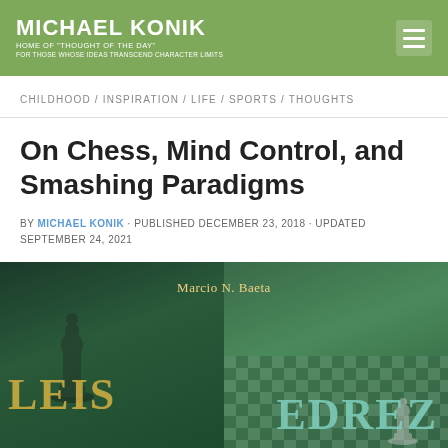MICHAEL KONIK
Home of "Thought of the Day"
For those whose ideas transcend character limits
CHILDHOOD / INSPIRATION / LIFE / SPORTS / THOUGHTS
On Chess, Mind Control, and Smashing Paradigms
BY MICHAEL KONIK · PUBLISHED DECEMBER 23, 2018 · UPDATED SEPTEMBER 24, 2021
[Figure (photo): Book cover showing 'Leis do Xadrez' by Marcio N. Baeta with a dark green chess-themed background, text showing author name Marcio N. Baeta, and large letters LEIS and EDREZ visible]